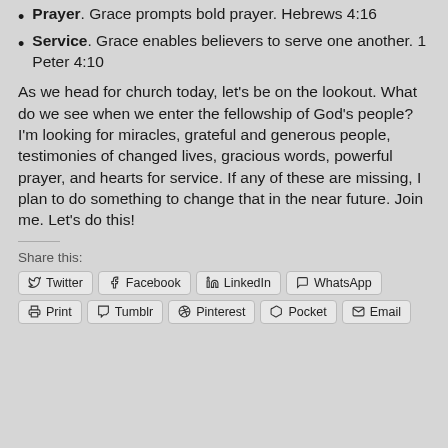Prayer. Grace prompts bold prayer. Hebrews 4:16
Service. Grace enables believers to serve one another. 1 Peter 4:10
As we head for church today, let’s be on the lookout. What do we see when we enter the fellowship of God’s people? I’m looking for miracles, grateful and generous people, testimonies of changed lives, gracious words, powerful prayer, and hearts for service. If any of these are missing, I plan to do something to change that in the near future. Join me. Let’s do this!
Share this:
Twitter | Facebook | LinkedIn | WhatsApp | Print | Tumblr | Pinterest | Pocket | Email